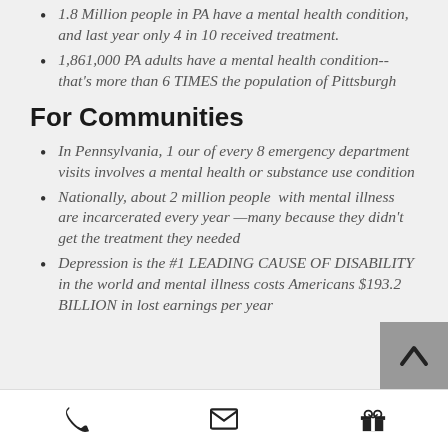1.8 Million people in PA have a mental health condition, and last year only 4 in 10 received treatment.
1,861,000 PA adults have a mental health condition--that's more than 6 TIMES the population of Pittsburgh
For Communities
In Pennsylvania, 1 our of every 8 emergency department visits involves a mental health or substance use condition
Nationally, about 2 million people with mental illness are incarcerated every year —many because they didn't get the treatment they needed
Depression is the #1 LEADING CAUSE OF DISABILITY in the world and mental illness costs Americans $193.2 BILLION in lost earnings per year
Phone | Email | Gift icons